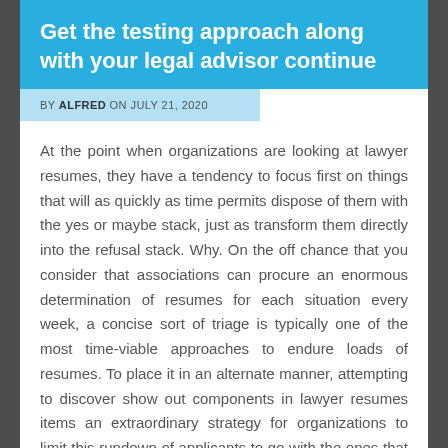Get the testing approach along with your legal advisor continue
BY ALFRED ON JULY 21, 2020
At the point when organizations are looking at lawyer resumes, they have a tendency to focus first on things that will as quickly as time permits dispose of them with the yes or maybe stack, just as transform them directly into the refusal stack. Why. On the off chance that you consider that associations can procure an enormous determination of resumes for each situation every week, a concise sort of triage is typically one of the most time-viable approaches to endure loads of resumes. To place it in an alternate manner, attempting to discover show out components in lawyer resumes items an extraordinary strategy for organizations to limit this rundown of applicants to go with the ones that they have the most enthusiasm for.